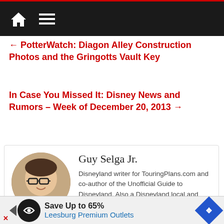Navigation bar with home and menu icons
← PotterWatch: Diagon Alley Construction Photos and the Gringotts Vault Key
In Case You Missed It: Disney News and Rumors – Week of December 20, 2013 →
[Figure (photo): Circular profile photo of Guy Selga Jr., a man with glasses and blue shirt]
Guy Selga Jr.
Disneyland writer for TouringPlans.com and co-author of the Unofficial Guide to Disneyland. Also a Disneyland local and appreciator of Disney theme park history.
Twitter and Instag...
[Figure (other): Advertisement banner: Save Up to 65% Leesburg Premium Outlets]